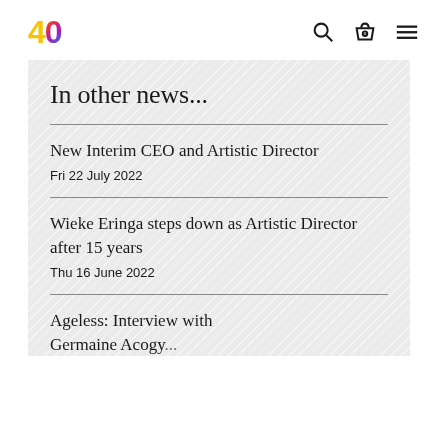40 [logo] with search, basket (0), and menu icons
In other news...
New Interim CEO and Artistic Director
Fri 22 July 2022
Wieke Eringa steps down as Artistic Director after 15 years
Thu 16 June 2022
Ageless: Interview with Germaine Acogy...